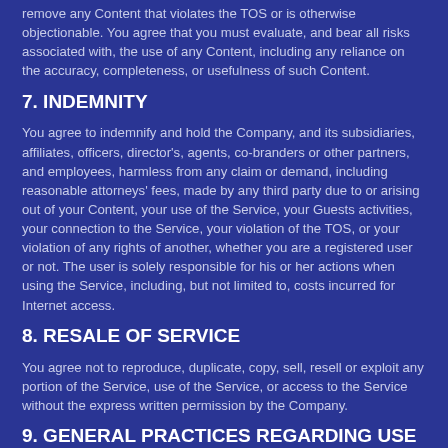remove any Content that violates the TOS or is otherwise objectionable. You agree that you must evaluate, and bear all risks associated with, the use of any Content, including any reliance on the accuracy, completeness, or usefulness of such Content.
7. INDEMNITY
You agree to indemnify and hold the Company, and its subsidiaries, affiliates, officers, director's, agents, co-branders or other partners, and employees, harmless from any claim or demand, including reasonable attorneys' fees, made by any third party due to or arising out of your Content, your use of the Service, your Guests activities, your connection to the Service, your violation of the TOS, or your violation of any rights of another, whether you are a registered user or not. The user is solely responsible for his or her actions when using the Service, including, but not limited to, costs incurred for Internet access.
8. RESALE OF SERVICE
You agree not to reproduce, duplicate, copy, sell, resell or exploit any portion of the Service, use of the Service, or access to the Service without the express written permission by the Company.
9. GENERAL PRACTICES REGARDING USE AND STORAGE
You acknowledge that the Company may establish general practices and limits concerning use of the Service and may modify